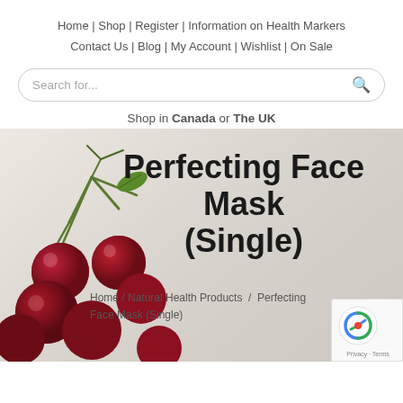Home | Shop | Register | Information on Health Markers
Contact Us | Blog | My Account | Wishlist | On Sale
Search for...
Shop in Canada or The UK
Perfecting Face Mask (Single)
Home / Natural Health Products / Perfecting Face Mask (Single)